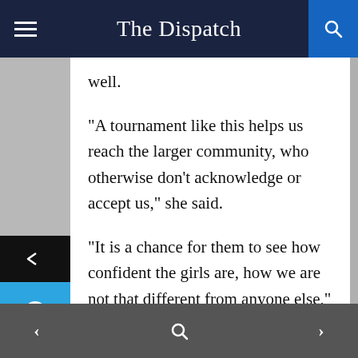The Dispatch
well.
“A tournament like this helps us reach the larger community, who otherwise don’t acknowledge or accept us,” she said.
“It is a chance for them to see how confident the girls are, how we are not that different from anyone else,” she said.
Fadila Ponsa, 16, is among the newest members of Buku FC, having joined just a